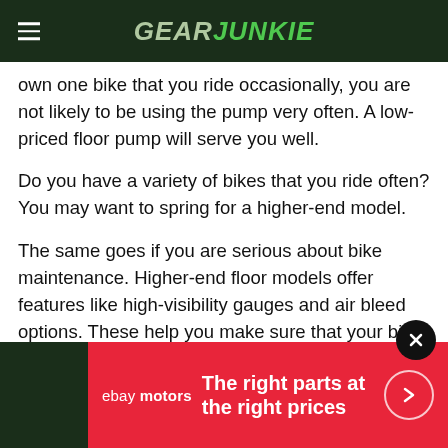GEAR JUNKIE
own one bike that you ride occasionally, you are not likely to be using the pump very often. A low-priced floor pump will serve you well.
Do you have a variety of bikes that you ride often? You may want to spring for a higher-end model.
The same goes if you are serious about bike maintenance. Higher-end floor models offer features like high-visibility gauges and air bleed options. These help you make sure that your bike tires are filled to the optimal level for peak performance.
A mini-pump is considered optional by some. But if you ever get a flat during a ride, it seems anything but. If you're not sure what kind of mini-pump to get, focus on portability.
[Figure (infographic): eBay Motors advertisement banner: red background with 'ebay motors' logo on left and text 'The right parts at the right prices' with arrow circle button on right]